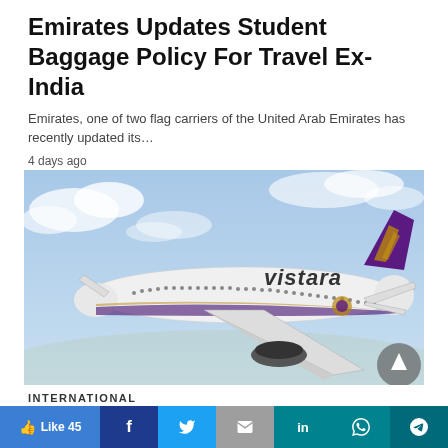Emirates Updates Student Baggage Policy For Travel Ex-India
Emirates, one of two flag carriers of the United Arab Emirates has recently updated its…
4 days ago
[Figure (photo): Vistara airline aircraft in flight against a cloudy blue sky]
INTERNATIONAL
Like 45  (social share bar with Facebook, Twitter, Email, LinkedIn, WhatsApp, Telegram buttons)